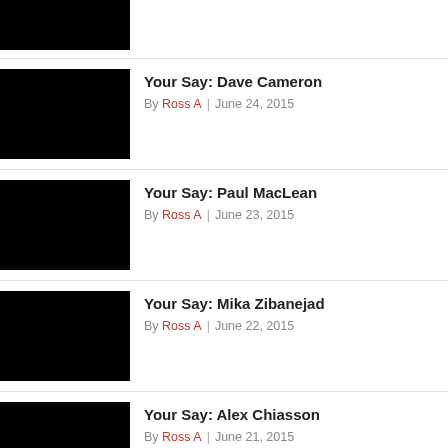[Figure (photo): Black thumbnail image for partial article at top]
[Figure (photo): Black thumbnail image for Your Say: Dave Cameron]
Your Say: Dave Cameron
By Ross A | June 24, 2015
[Figure (photo): Black thumbnail image for Your Say: Paul MacLean]
Your Say: Paul MacLean
By Ross A | June 23, 2015
[Figure (photo): Black thumbnail image for Your Say: Mika Zibanejad]
Your Say: Mika Zibanejad
By Ross A | June 22, 2015
[Figure (photo): Black thumbnail image for Your Say: Alex Chiasson]
Your Say: Alex Chiasson
By Ross A | June 21, 2015